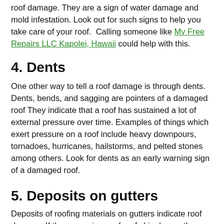roof damage. They are a sign of water damage and mold infestation. Look out for such signs to help you take care of your roof. Calling someone like My Free Repairs LLC Kapolei, Hawaii could help with this.
4. Dents
One other way to tell a roof damage is through dents. Dents, bends, and sagging are pointers of a damaged roof They indicate that a roof has sustained a lot of external pressure over time. Examples of things which exert pressure on a roof include heavy downpours, tornadoes, hurricanes, hailstorms, and pelted stones among others. Look for dents as an early warning sign of a damaged roof.
5. Deposits on gutters
Deposits of roofing materials on gutters indicate roof damage. If there are pieces of roof shingles on the gutter for